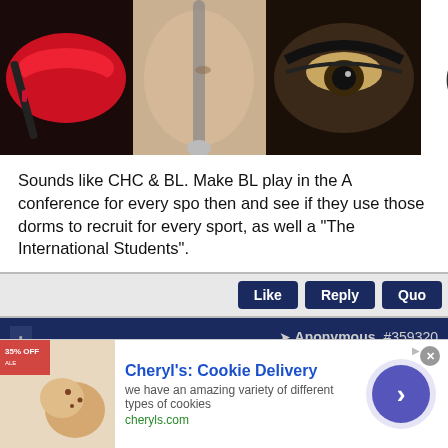[Figure (photo): Ulta Beauty advertisement banner with makeup images (lips, brush, eye) and ULTA logo, SHOP NOW text]
Sounds like CHC & BL. Make BL play in the A conference for every spo then and see if they use those dorms to recruit for every sport, as well a "The International Students".
[Figure (screenshot): Like, Reply, Quo buttons row]
Anonymous #3593200
Anonymous
Unregistered
Originally Posted by Anonymous
[Figure (photo): Cheryl's Cookie Delivery bottom advertisement with cookie image and arrow button]
Cheryl's: Cookie Delivery
we have an amazing variety of different types of cookies
cheryls.com